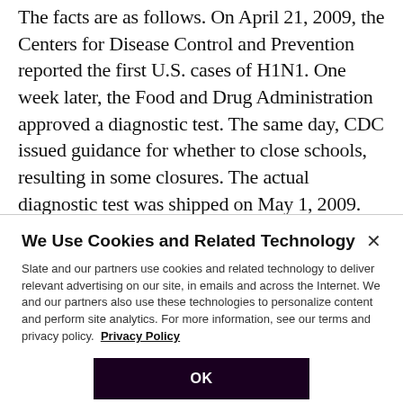The facts are as follows. On April 21, 2009, the Centers for Disease Control and Prevention reported the first U.S. cases of H1N1. One week later, the Food and Drug Administration approved a diagnostic test. The same day, CDC issued guidance for whether to close schools, resulting in some closures. The actual diagnostic test was shipped on May 1, 2009. On June 11, 2009, the World Health Organization declared the novel H1N1 to be A pandemic.
We Use Cookies and Related Technology
Slate and our partners use cookies and related technology to deliver relevant advertising on our site, in emails and across the Internet. We and our partners also use these technologies to personalize content and perform site analytics. For more information, see our terms and privacy policy.  Privacy Policy
OK